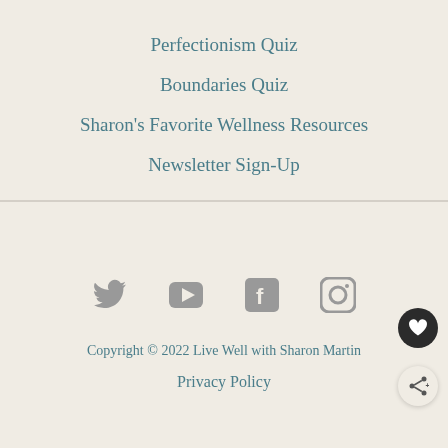Perfectionism Quiz
Boundaries Quiz
Sharon's Favorite Wellness Resources
Newsletter Sign-Up
[Figure (infographic): Social media icons for Twitter, YouTube, Facebook, and Instagram in grey]
Copyright © 2022 Live Well with Sharon Martin
Privacy Policy